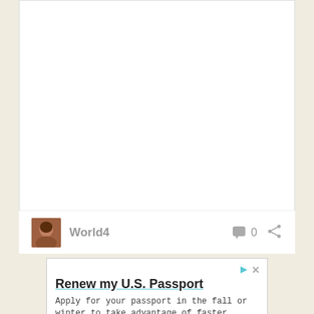[Figure (screenshot): White content card area, mostly blank/empty upper portion of a web content card]
World4
0
[Figure (screenshot): Advertisement banner: Renew my U.S. Passport — Apply for your passport in the fall or winter to take advantage of faster processing. U.S. Department of State. Learn More button.]